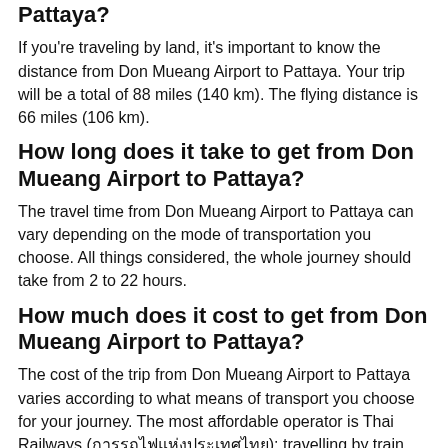Pattaya?
If you're traveling by land, it's important to know the distance from Don Mueang Airport to Pattaya. Your trip will be a total of 88 miles (140 km). The flying distance is 66 miles (106 km).
How long does it take to get from Don Mueang Airport to Pattaya?
The travel time from Don Mueang Airport to Pattaya can vary depending on the mode of transportation you choose. All things considered, the whole journey should take from 2 to 22 hours.
How much does it cost to get from Don Mueang Airport to Pattaya?
The cost of the trip from Don Mueang Airport to Pattaya varies according to what means of transport you choose for your journey. The most affordable operator is Thai Railways (การรถไฟแห่งประเทศไทย): travelling by train expect to pay as low as $1 for your ticket.